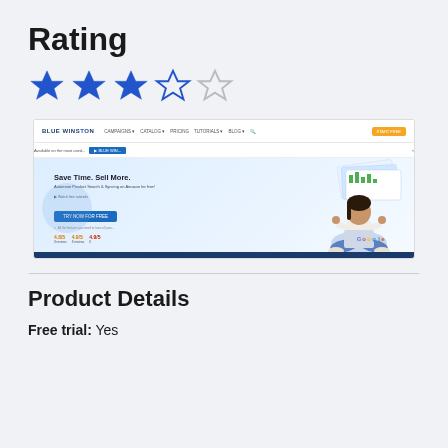Rating
[Figure (other): Star rating showing 3 out of 5 stars filled in blue]
[Figure (screenshot): Screenshot of Blue Winston website showing 'Save Time. Sell More.' hero section with a woman holding a laptop showing Google, navigation bar at top, and a CTA button 'TRY NOW FOR FREE']
Product Details
Free trial: Yes